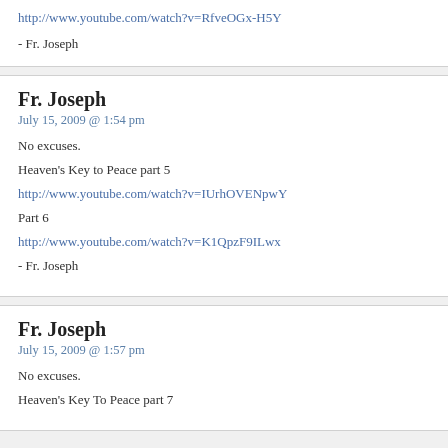http://www.youtube.com/watch?v=RfveOGx-H5Y
- Fr. Joseph
Fr. Joseph
July 15, 2009 @ 1:54 pm
No excuses.
Heaven's Key to Peace part 5
http://www.youtube.com/watch?v=IUrhOVENpwY
Part 6
http://www.youtube.com/watch?v=K1QpzF9ILwx
- Fr. Joseph
Fr. Joseph
July 15, 2009 @ 1:57 pm
No excuses.
Heaven's Key To Peace part 7